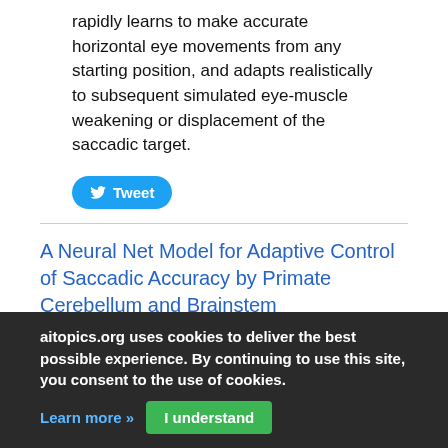rapidly learns to make accurate horizontal eye movements from any starting position, and adapts realistically to subsequent simulated eye-muscle weakening or displacement of the saccadic target.
[Figure (other): Twitter Tweet button]
A Neural Net Model for Adaptive Control of Saccadic Accuracy by Primate Cerebellum and Brainstem
Neural Information Processing Systems    Dec-31-1992
Accurate saccades require interaction between brainstem circuitry and the
aitopics.org uses cookies to deliver the best possible experience. By continuing to use this site, you consent to the use of cookies.
Learn more »   I understand